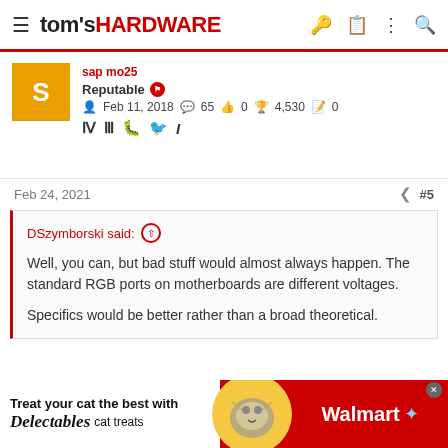tom's HARDWARE
Reputable
Feb 11, 2018  65  0  4,530  0
Feb 24, 2021  #5
DSzymborski said:
Well, you can, but bad stuff would almost always happen. The standard RGB ports on motherboards are different voltages.
Specifics would be better rather than a broad theoretical.
Like connecting an ARGB CPU cooler to RGB header on the
[Figure (screenshot): Walmart advertisement banner with Delectables cat treats promotion]